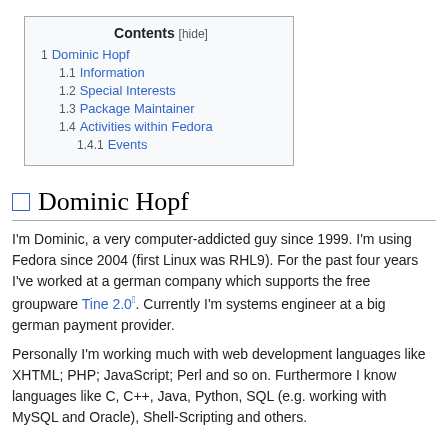| Contents [hide] |
| 1  Dominic Hopf |
| 1.1  Information |
| 1.2  Special Interests |
| 1.3  Package Maintainer |
| 1.4  Activities within Fedora |
| 1.4.1  Events |
Dominic Hopf
I'm Dominic, a very computer-addicted guy since 1999. I'm using Fedora since 2004 (first Linux was RHL9). For the past four years I've worked at a german company which supports the free groupware Tine 2.0. Currently I'm systems engineer at a big german payment provider.
Personally I'm working much with web development languages like XHTML; PHP; JavaScript; Perl and so on. Furthermore I know languages like C, C++, Java, Python, SQL (e.g. working with MySQL and Oracle), Shell-Scripting and others.